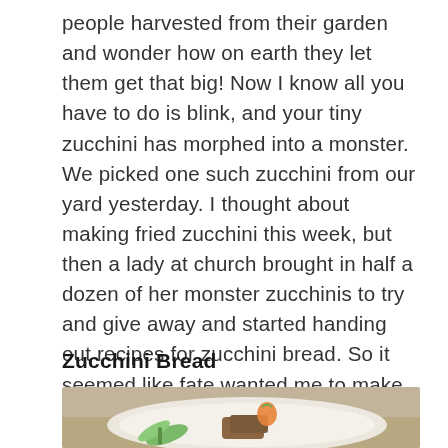people harvested from their garden and wonder how on earth they let them get that big! Now I know all you have to do is blink, and your tiny zucchini has morphed into a monster. We picked one such zucchini from our yard yesterday. I thought about making fried zucchini this week, but then a lady at church brought in half a dozen of her monster zucchinis to try and give away and started handing out recipes for zucchini bread. So it seemed like fate wanted me to make zucchini bread today. Here is the recipe, plus a delicious variation.
Zucchini Bread
[Figure (photo): Photo of a white plate with sliced zucchini bread, green vegetable garnish, and an orange garnish, on a light background.]